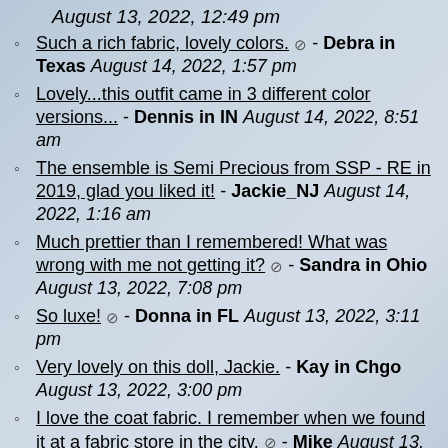August 13, 2022, 12:49 pm
Such a rich fabric, lovely colors. ⊘ - Debra in Texas August 14, 2022, 1:57 pm
Lovely...this outfit came in 3 different color versions... - Dennis in IN August 14, 2022, 8:51 am
The ensemble is Semi Precious from SSP - RE in 2019, glad you liked it! - Jackie_NJ August 14, 2022, 1:16 am
Much prettier than I remembered! What was wrong with me not getting it? ⊘ - Sandra in Ohio August 13, 2022, 7:08 pm
So luxe! ⊘ - Donna in FL August 13, 2022, 3:11 pm
Very lovely on this doll, Jackie. - Kay in Chgo August 13, 2022, 3:00 pm
I love the coat fabric. I remember when we found it at a fabric store in the city. ⊘ - Mike August 13, 2022, 1:19 pm
Great story, Mike! ⊘ - Sandra in Ohio August 13, 2022, 7:08 pm
Just to add to this... we were at this